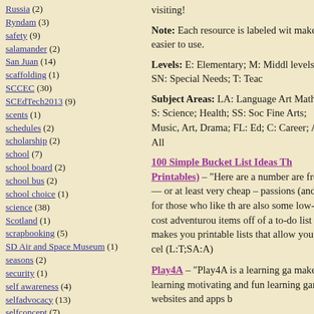Russia (2)
Ryndam (3)
safety (9)
salamander (2)
San Juan (14)
scaffolding (1)
SCCEC (30)
SCEdTech2013 (9)
scents (1)
schedules (2)
scholarship (2)
school (7)
school board (2)
school bus (2)
school choice (1)
science (38)
Scotland (1)
scrapbooking (5)
SD Air and Space Museum (1)
seasons (2)
security (1)
self awareness (4)
selfadvocacy (13)
selfconcept (7)
selfconfidence (21)
selfishness (1)
sequencing (3)
sharing (10)
sheep (2)
visiting!
Note: Each resource is labeled with make it easier to use.
Levels: E: Elementary; M: Middle levels; SN: Special Needs; T: Teacher
Subject Areas: LA: Language Arts; Math; S: Science; Health; SS: Social; Fine Arts; Music, Art, Drama; FL; Ed; C: Career; A: All
100 Simple Bucket List Ideas That Printables) – "Here are a number are free — or at least very cheap – passions (and for those who like the are also some low-cost adventurous items off of a to-do list makes you printable lists that allow you to celebrate (L:T;SA:A)
Play4A – "Play4A is a learning game make learning motivating and fun learning game websites and apps b